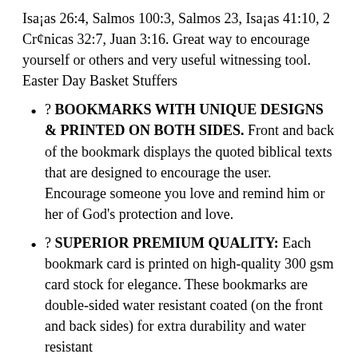Isaías 26:4, Salmos 100:3, Salmos 23, Isaías 41:10, 2 Crónicas 32:7, Juan 3:16. Great way to encourage yourself or others and very useful witnessing tool. Easter Day Basket Stuffers
? BOOKMARKS WITH UNIQUE DESIGNS & PRINTED ON BOTH SIDES. Front and back of the bookmark displays the quoted biblical texts that are designed to encourage the user. Encourage someone you love and remind him or her of God's protection and love.
? SUPERIOR PREMIUM QUALITY: Each bookmark card is printed on high-quality 300 gsm card stock for elegance. These bookmarks are double-sided water resistant coated (on the front and back sides) for extra durability and water resistant